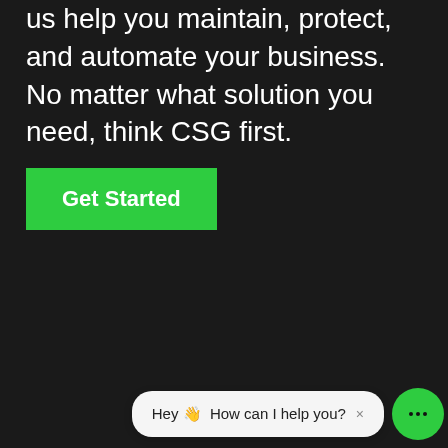us help you maintain, protect, and automate your business. No matter what solution you need, think CSG first.
[Figure (other): Green 'Get Started' button]
[Figure (other): Chat widget with bubble saying 'Hey 👋 How can I help you?' and green chat icon button]